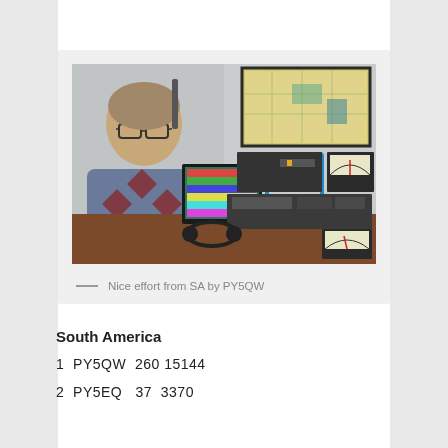[Figure (photo): A man with glasses sitting at a ham radio operator station with multiple radio transceivers, a computer monitor, and a map on the wall behind him.]
— Nice effort from SA by PY5QW
South America
1  PY5QW  260 15144
2  PY5EQ  37  3370